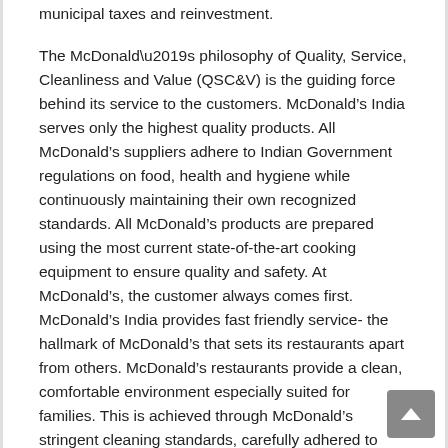municipal taxes and reinvestment.
The McDonald’s philosophy of Quality, Service, Cleanliness and Value (QSC&V) is the guiding force behind its service to the customers. McDonald’s India serves only the highest quality products. All McDonald’s suppliers adhere to Indian Government regulations on food, health and hygiene while continuously maintaining their own recognized standards. All McDonald’s products are prepared using the most current state-of-the-art cooking equipment to ensure quality and safety. At McDonald’s, the customer always comes first. McDonald’s India provides fast friendly service- the hallmark of McDonald’s that sets its restaurants apart from others. McDonald’s restaurants provide a clean, comfortable environment especially suited for families. This is achieved through McDonald’s stringent cleaning standards, carefully adhered to McDonald’s menu is priced at a value that the largest segment of the Indian consumers can afford. McDonald’s does not sacrifice